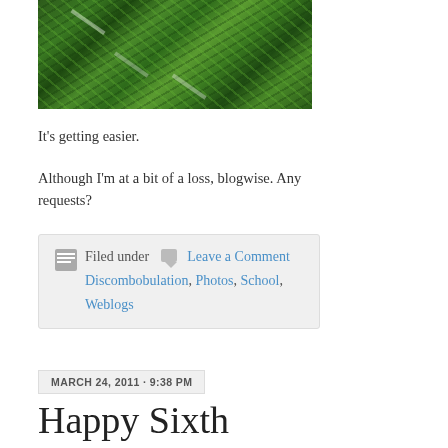[Figure (photo): Close-up photo of green grass or wheat plants with sunlight glinting off the blades]
It's getting easier.
Although I'm at a bit of a loss, blogwise. Any requests?
Filed under   Leave a Comment Discombobulation, Photos, School, Weblogs
MARCH 24, 2011 · 9:38 PM
Happy Sixth